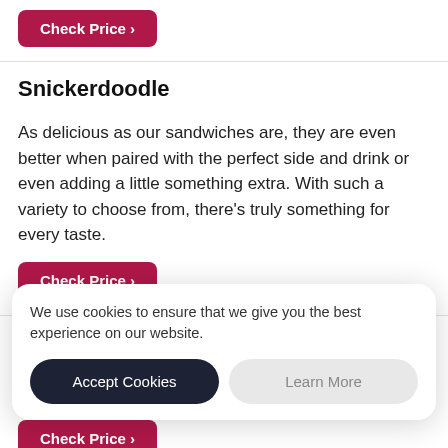[Figure (other): Check Price button (crimson/dark pink, rounded corners) at the top of the page]
Snickerdoodle
As delicious as our sandwiches are, they are even better when paired with the perfect side and drink or even adding a little something extra. With such a variety to choose from, there's truly something for every taste.
[Figure (other): Check Price button (crimson/dark pink, rounded corners) below Snickerdoodle section]
Lays Classic Plain
Lays Classic Plain
We use cookies to ensure that we give you the best experience on our website.
Accept Cookies | Learn More
[Figure (other): Partial Check Price button visible at bottom of page]